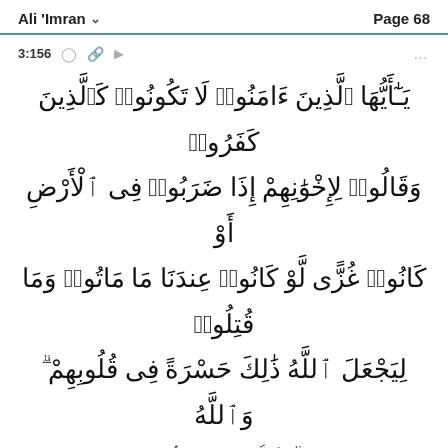Ali 'Imran    Page 68
3:156
يَـٰٓأَيُّهَا ٱلَّذِينَ ءَامَنُوا۟ لَا تَكُونُوا۟ كَٱلَّذِينَ كَفَرُوا۟ وَقَالُوا۟ لِإِخْوَٰنِهِمْ إِذَا ضَرَبُوا۟ فِى ٱلْأَرْضِ أَوْ كَانُوا۟ غُزًّى لَّوْ كَانُوا۟ عِندَنَا مَا مَاتُوا۟ وَمَا قُتِلُوا۟ لِيَجْعَلَ ٱللَّهُ ذَٰلِكَ حَسْرَةً فِى قُلُوبِهِمْ ۗ وَٱللَّهُ يُحْىِۦ وَيُمِيتُ ۗ وَٱللَّهُ بِمَا تَعْمَلُونَ بَصِيرٌ ۝١٥٦
O believers! Do not be like the unfaithful 1 who say